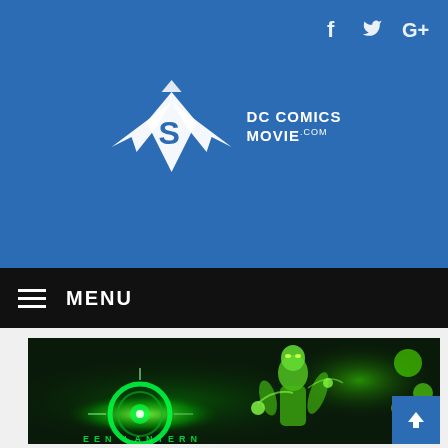DC Comics Movie .com website header with social icons (Facebook, Twitter, Google+) and logo
[Figure (logo): DC Comics Movie .com logo — stylized Batman/Superman/Wonder Woman wings and shield emblem in white, with text 'DC COMICS MOVIE.COM']
MENU
[Figure (photo): Green Lantern movie promotional banner image — green glowing character and Green Lantern logo text on dark background]